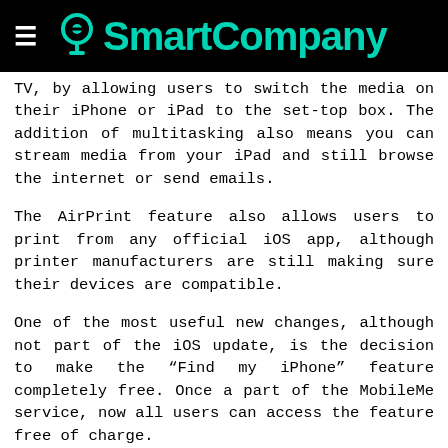SmartCompany
TV, by allowing users to switch the media on their iPhone or iPad to the set-top box. The addition of multitasking also means you can stream media from your iPad and still browse the internet or send emails.
The AirPrint feature also allows users to print from any official iOS app, although printer manufacturers are still making sure their devices are compatible.
One of the most useful new changes, although not part of the iOS update, is the decision to make the “Find my iPhone” feature completely free. Once a part of the MobileMe service, now all users can access the feature free of charge.
Users need to set up their device and an account through the MobileMe website, and need the latest update to do so. If you lose your phone, the service will locate it for you and give you a rough GPS